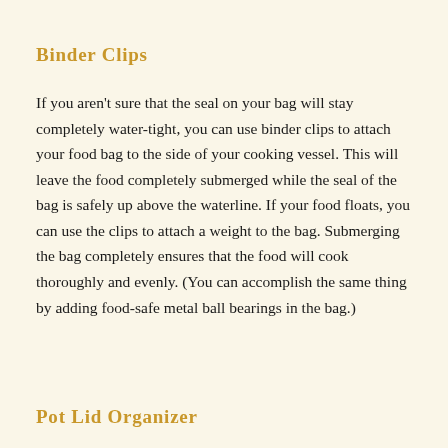Binder clips
If you aren't sure that the seal on your bag will stay completely water-tight, you can use binder clips to attach your food bag to the side of your cooking vessel. This will leave the food completely submerged while the seal of the bag is safely up above the waterline. If your food floats, you can use the clips to attach a weight to the bag. Submerging the bag completely ensures that the food will cook thoroughly and evenly. (You can accomplish the same thing by adding food-safe metal ball bearings in the bag.)
Pot lid organizer